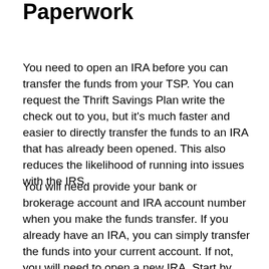Paperwork
You need to open an IRA before you can transfer the funds from your TSP. You can request the Thrift Savings Plan write the check out to you, but it’s much faster and easier to directly transfer the funds to an IRA that has already been opened. This also reduces the likelihood of running into issues with the IRS.
You will need provide your bank or brokerage account and IRA account number when you make the funds transfer. If you already have an IRA, you can simply transfer the funds into your current account. If not, you will need to open a new IRA. Start by researching financial companies. We have a list of recommendations here, or you can go with any of the major military financial institutions (USAA, NFCU, PenFed) or major brokerage houses (Vanguard